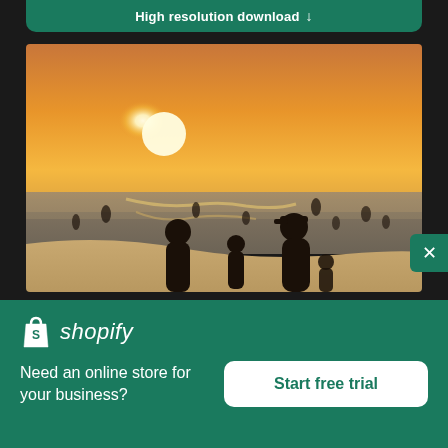High resolution download ↓
[Figure (photo): Beach sunset scene with silhouettes of people wading in ocean water, warm orange and golden sky with bright sun near horizon]
[Figure (logo): Shopify logo with shopping bag icon and italic 'shopify' wordmark in white on green background]
Need an online store for your business?
Start free trial